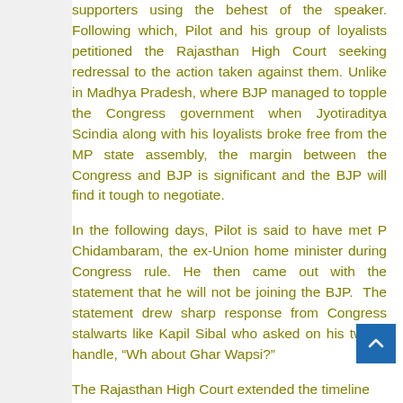supporters using the behest of the speaker. Following which, Pilot and his group of loyalists petitioned the Rajasthan High Court seeking redressal to the action taken against them. Unlike in Madhya Pradesh, where BJP managed to topple the Congress government when Jyotiraditya Scindia along with his loyalists broke free from the MP state assembly, the margin between the Congress and BJP is significant and the BJP will find it tough to negotiate.
In the following days, Pilot is said to have met P Chidambaram, the ex-Union home minister during Congress rule. He then came out with the statement that he will not be joining the BJP.  The statement drew sharp response from Congress stalwarts like Kapil Sibal who asked on his twitter handle, “Wh about Ghar Wapsi?”
The Rajasthan High Court extended the timeline